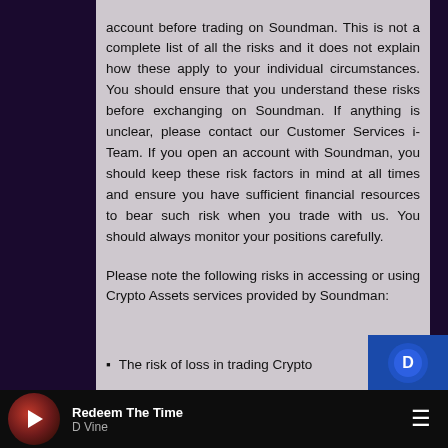account before trading on Soundman. This is not a complete list of all the risks and it does not explain how these apply to your individual circumstances. You should ensure that you understand these risks before exchanging on Soundman. If anything is unclear, please contact our Customer Services i-Team. If you open an account with Soundman, you should keep these risk factors in mind at all times and ensure you have sufficient financial resources to bear such risk when you trade with us. You should always monitor your positions carefully.
Please note the following risks in accessing or using Crypto Assets services provided by Soundman:
The risk of loss in trading Crypto
Redeem The Time | D Vine